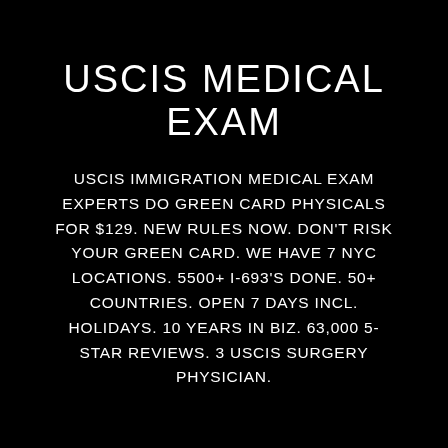USCIS MEDICAL EXAM
USCIS IMMIGRATION MEDICAL EXAM EXPERTS DO GREEN CARD PHYSICALS FOR $129. NEW RULES NOW. DON'T RISK YOUR GREEN CARD. WE HAVE 7 NYC LOCATIONS. 5500+ I-693'S DONE. 50+ COUNTRIES. OPEN 7 DAYS INCL. HOLIDAYS. 10 YEARS IN BIZ. 63,000 5-STAR REVIEWS. 3 USCIS SURGERY PHYSICIAN.